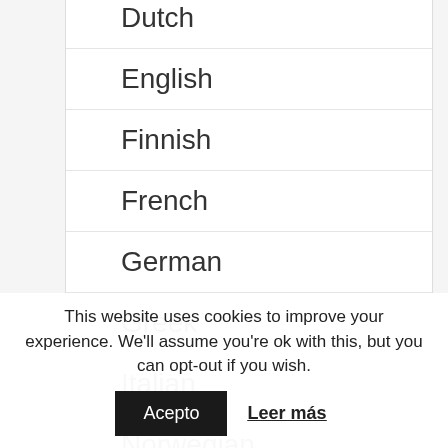Dutch
English
Finnish
French
German
Greek
Italian
Norwegian
Portuguese
This website uses cookies to improve your experience. We'll assume you're ok with this, but you can opt-out if you wish.
Acepto
Leer más